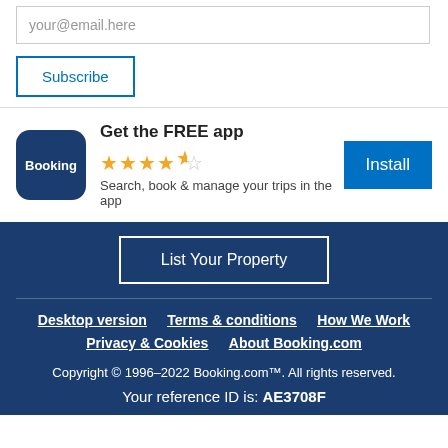your@email.here
Subscribe
Get the FREE app
[Figure (logo): Booking.com app icon — dark navy blue rounded square with white 'Booking' text]
★★★★½
Search, book & manage your trips in the app
Install
List Your Property
Desktop version   Terms & conditions   How We Work   Privacy & Cookies   About Booking.com
Copyright © 1996–2022 Booking.com™. All rights reserved.
Your reference ID is: AE3708F